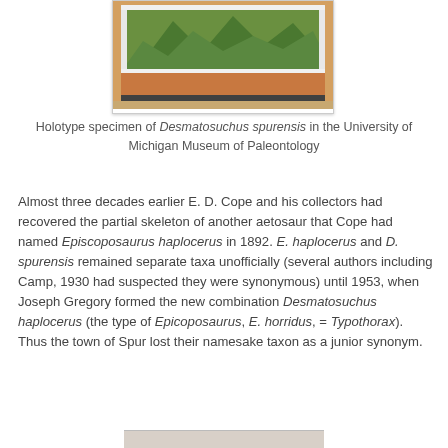[Figure (photo): Holotype specimen of Desmatosuchus spurensis in a museum display case, University of Michigan Museum of Paleontology]
Holotype specimen of Desmatosuchus spurensis in the University of Michigan Museum of Paleontology
Almost three decades earlier E. D. Cope and his collectors had recovered the partial skeleton of another aetosaur that Cope had named Episcoposaurus haplocerus in 1892. E. haplocerus and D. spurensis remained separate taxa unofficially (several authors including Camp, 1930 had suspected they were synonymous) until 1953, when Joseph Gregory formed the new combination Desmatosuchus haplocerus (the type of Epicoposaurus, E. horridus, = Typothorax). Thus the town of Spur lost their namesake taxon as a junior synonym.
[Figure (photo): Partial image of another specimen or exhibit at the bottom of the page]